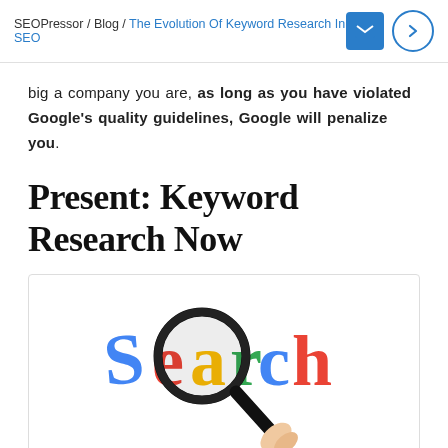SEOPressor / Blog / The Evolution Of Keyword Research In SEO
big a company you are, as long as you have violated Google's quality guidelines, Google will penalize you.
Present: Keyword Research Now
[Figure (illustration): A hand holding a magnifying glass over the word 'Search' styled in Google-like multicolored letters]
You have to research for the keywords that you are targeting in